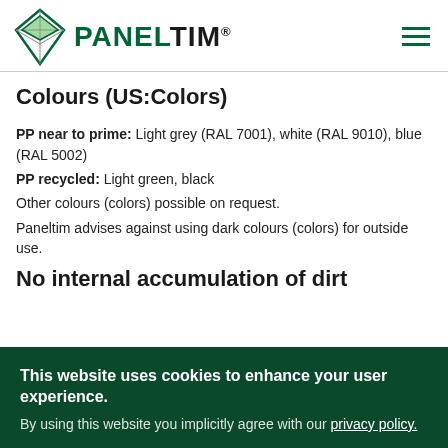PANELTIM®
Colours (US:Colors)
PP near to prime: Light grey (RAL 7001), white (RAL 9010), blue (RAL 5002)
PP recycled: Light green, black
Other colours (colors) possible on request.
Paneltim advises against using dark colours (colors) for outside use.
No internal accumulation of dirt
This website uses cookies to enhance your user experience.
By using this website you implicitly agree with our privacy policy.